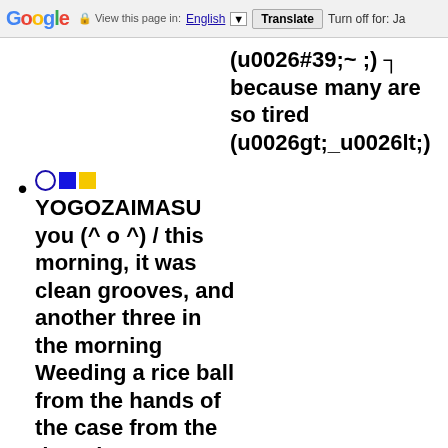Google  View this page in: English [▼]  Translate  Turn off for: Ja
(u0026#39;~ ;) ┐ because many are so tired (u0026gt;_u0026lt;)
○■□ YOGOZAIMASU you (^ o ^) / this morning, it was clean grooves, and another three in the morning Weeding a rice ball from the hands of the case from the day when I get home from (u0026gt;_u0026lt;) husband like a tennis I go to the